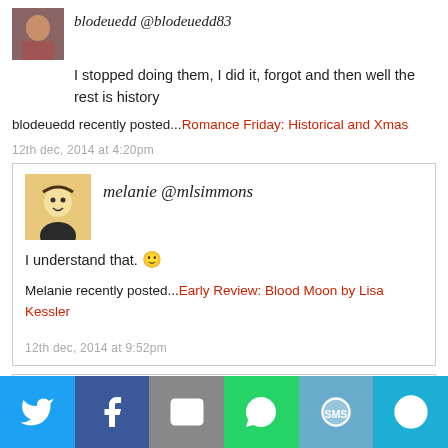blodeuedd @blodeuedd83
I stopped doing them, I did it, forgot and then well the rest is history
blodeuedd recently posted...Romance Friday: Historical and Xmas
12th dec, 2014 at 4:20pm
melanie @mlsimmons
I understand that. 🙂
Melanie recently posted...Early Review: Blood Moon by Lisa Kessler
12th dec, 2014 at 9:52pm
[Figure (infographic): Social share bar with Twitter, Facebook, Email, WhatsApp, SMS, and More buttons]